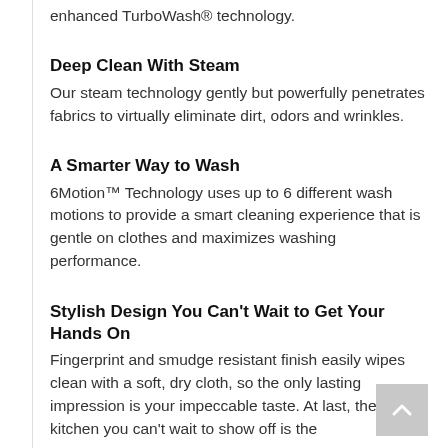enhanced TurboWash® technology.
Deep Clean With Steam
Our steam technology gently but powerfully penetrates fabrics to virtually eliminate dirt, odors and wrinkles.
A Smarter Way to Wash
6Motion™ Technology uses up to 6 different wash motions to provide a smart cleaning experience that is gentle on clothes and maximizes washing performance.
Stylish Design You Can't Wait to Get Your Hands On
Fingerprint and smudge resistant finish easily wipes clean with a soft, dry cloth, so the only lasting impression is your impeccable taste. At last, the kitchen you can't wait to show off is the